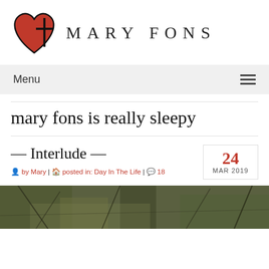[Figure (logo): Mary Fons blog logo: a red heart with a black cross/plus sign overlaid, and the text MARY FONS in spaced serif uppercase letters]
Menu
mary fons is really sleepy
— Interlude —
by Mary | posted in: Day In The Life | 18
24 MAR 2019
[Figure (photo): Outdoor nature photo, muted green and brown tones, appears to show branches or twigs on the ground]